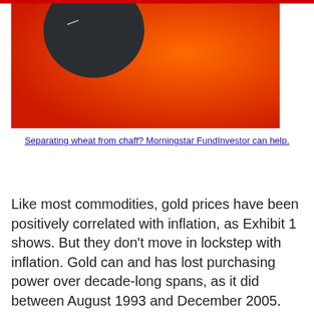[Figure (photo): Decorative image with orange-to-red gradient background and a dark circular object (possibly a speaker or device) in the upper left portion]
Separating wheat from chaff? Morningstar FundInvestor can help.
Like most commodities, gold prices have been positively correlated with inflation, as Exhibit 1 shows. But they don't move in lockstep with inflation. Gold can and has lost purchasing power over decade-long spans, as it did between August 1993 and December 2005. Investors who bought gold at its record high real price in January 1980 are still waiting to be made whole on an inflation-adjusted